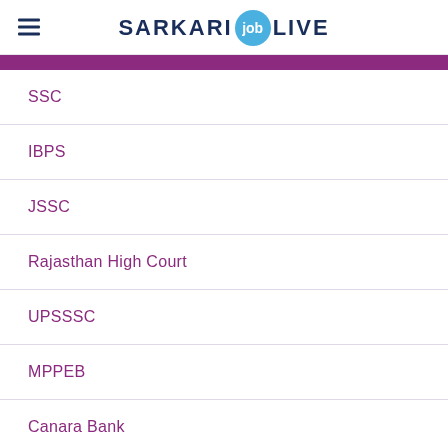SARKARI job LIVE
SSC
IBPS
JSSC
Rajasthan High Court
UPSSSC
MPPEB
Canara Bank